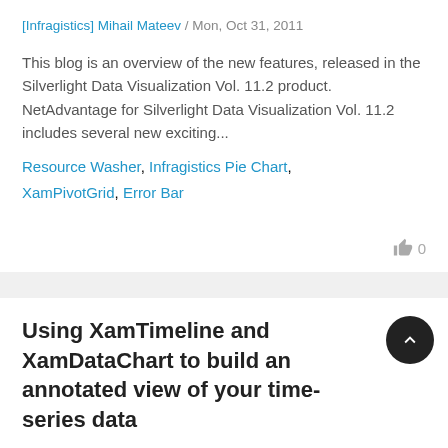[Infragistics] Mihail Mateev / Mon, Oct 31, 2011
This blog is an overview of the new features, released in the Silverlight Data Visualization Vol. 11.2 product. NetAdvantage for Silverlight Data Visualization Vol. 11.2 includes several new exciting...
Resource Washer, Infragistics Pie Chart, XamPivotGrid, Error Bar
Using XamTimeline and XamDataChart to build an annotated view of your time-series data
Kiril Matev / Thu, Jul 28, 2011
WPF allows developers to build highly interactive UIs,